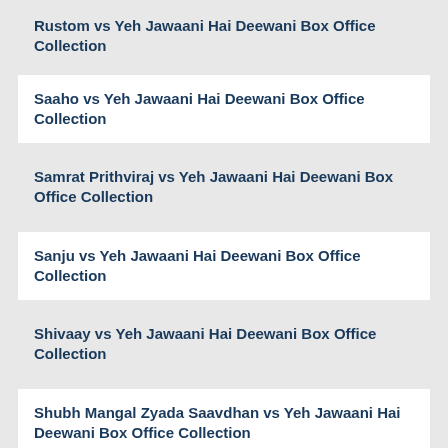Rustom vs Yeh Jawaani Hai Deewani Box Office Collection
Saaho vs Yeh Jawaani Hai Deewani Box Office Collection
Samrat Prithviraj vs Yeh Jawaani Hai Deewani Box Office Collection
Sanju vs Yeh Jawaani Hai Deewani Box Office Collection
Shivaay vs Yeh Jawaani Hai Deewani Box Office Collection
Shubh Mangal Zyada Saavdhan vs Yeh Jawaani Hai Deewani Box Office Collection
Singham Returns vs Yeh Jawaani Hai Deewani Box Office Collection
Sonu Ke Titu Ki Sweety vs Yeh Jawaani Hai Deewani Box Office Collection
Sooryavanshi vs Yeh Jawaani Hai Deewani Box Office Collection